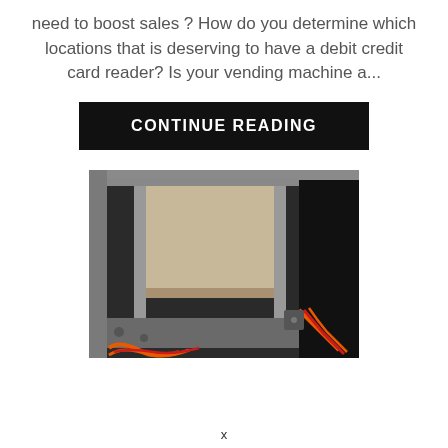need to boost sales ? How do you determine which locations that is deserving to have a debit credit card reader? Is your vending machine a...
[Figure (other): A black rectangular button with white bold uppercase text reading 'CONTINUE READING']
[Figure (photo): Interior of a vending machine showing metal frame, cardboard or beige panel, orange and red wires at the bottom, and mechanical components on a dark background.]
x